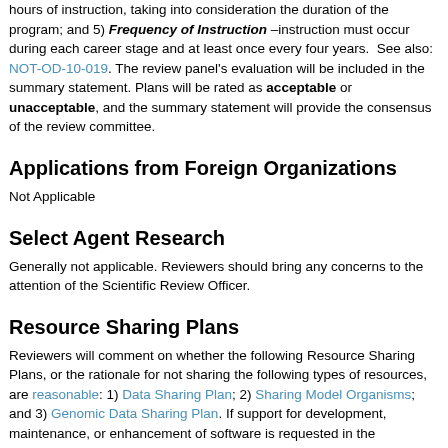hours of instruction, taking into consideration the duration of the program; and 5) Frequency of Instruction –instruction must occur during each career stage and at least once every four years. See also: NOT-OD-10-019. The review panel's evaluation will be included in the summary statement. Plans will be rated as acceptable or unacceptable, and the summary statement will provide the consensus of the review committee.
Applications from Foreign Organizations
Not Applicable
Select Agent Research
Generally not applicable. Reviewers should bring any concerns to the attention of the Scientific Review Officer.
Resource Sharing Plans
Reviewers will comment on whether the following Resource Sharing Plans, or the rationale for not sharing the following types of resources, are reasonable: 1) Data Sharing Plan; 2) Sharing Model Organisms; and 3) Genomic Data Sharing Plan. If support for development, maintenance, or enhancement of software is requested in the application, a software dissemination plan is